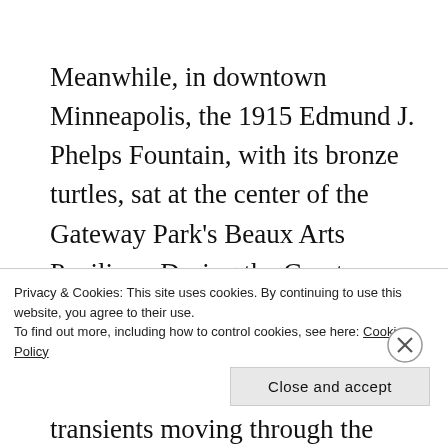Meanwhile, in downtown Minneapolis, the 1915 Edmund J. Phelps Fountain, with its bronze turtles, sat at the center of the Gateway Park's Beaux Arts Pavilion.  During the Great Depression, the park became a gathering place for the unemployed, homeless and transients moving through the area looking for work.   Eventually, the city drained the water from the
Privacy & Cookies: This site uses cookies. By continuing to use this website, you agree to their use.
To find out more, including how to control cookies, see here: Cookie Policy
Close and accept